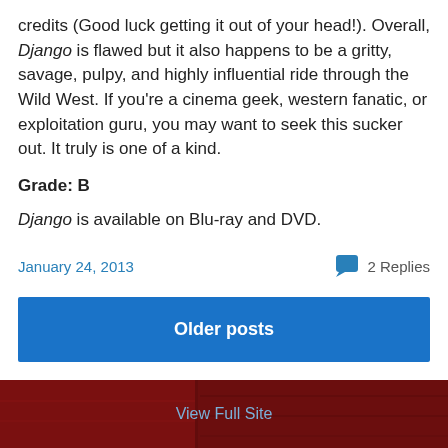credits (Good luck getting it out of your head!). Overall, Django is flawed but it also happens to be a gritty, savage, pulpy, and highly influential ride through the Wild West. If you're a cinema geek, western fanatic, or exploitation guru, you may want to seek this sucker out. It truly is one of a kind.
Grade: B
Django is available on Blu-ray and DVD.
January 24, 2013   2 Replies
Older posts
View Full Site